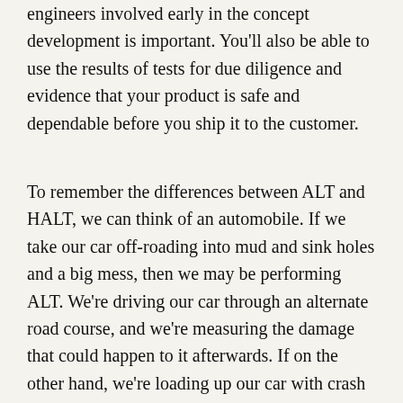engineers involved early in the concept development is important. You'll also be able to use the results of tests for due diligence and evidence that your product is safe and dependable before you ship it to the customer.
To remember the differences between ALT and HALT, we can think of an automobile. If we take our car off-roading into mud and sink holes and a big mess, then we may be performing ALT. We're driving our car through an alternate road course, and we're measuring the damage that could happen to it afterwards. If on the other hand, we're loading up our car with crash test, dummies, driving it at high speeds toward a wall so that it crashes – well, that's more akin to HALT: we're highly accelerating our automobile until it crashed and halted.